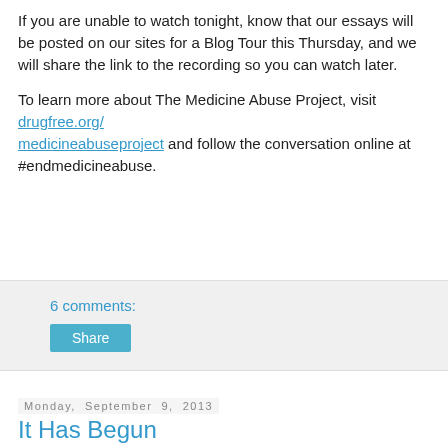If you are unable to watch tonight, know that our essays will be posted on our sites for a Blog Tour this Thursday, and we will share the link to the recording so you can watch later.
To learn more about The Medicine Abuse Project, visit drugfree.org/medicineabuseproject and follow the conversation online at #endmedicineabuse.
6 comments:
Share
Monday, September 9, 2013
It Has Begun
[Figure (photo): A child seen from the side/back, with dark hair, standing near a glass door with metal hardware, natural light coming through windows in the background.]